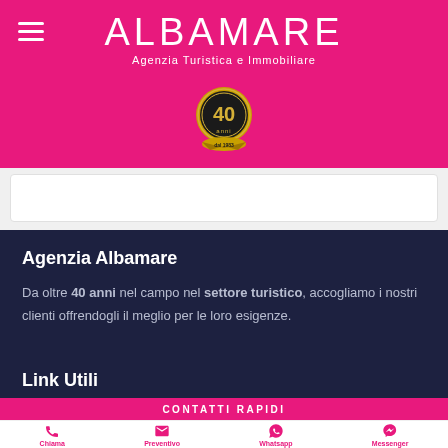[Figure (logo): Albamare agency logo with pink background, hamburger menu icon, ALBAMARE title in white, subtitle Agenzia Turistica e Immobiliare, and 40 anni gold badge]
Agenzia Albamare
Da oltre 40 anni nel campo nel settore turistico, accogliamo i nostri clienti offrendogli il meglio per le loro esigenze.
Link Utili
CONTATTI RAPIDI
Chiama  Preventivo  Whatsapp  Messenger